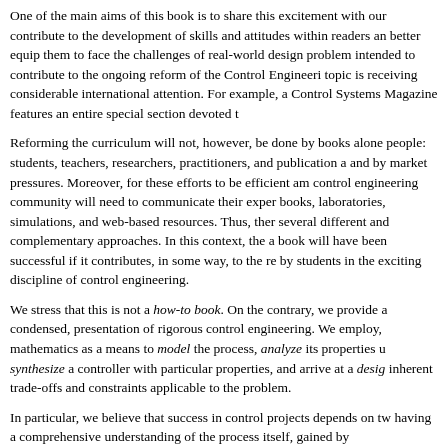One of the main aims of this book is to share this excitement with our contribute to the development of skills and attitudes within readers an better equip them to face the challenges of real-world design problem intended to contribute to the ongoing reform of the Control Engineeri topic is receiving considerable international attention. For example, a Control Systems Magazine features an entire special section devoted t
Reforming the curriculum will not, however, be done by books alone people: students, teachers, researchers, practitioners, and publication a and by market pressures. Moreover, for these efforts to be efficient am control engineering community will need to communicate their exper books, laboratories, simulations, and web-based resources. Thus, ther several different and complementary approaches. In this context, the a book will have been successful if it contributes, in some way, to the re by students in the exciting discipline of control engineering.
We stress that this is not a how-to book. On the contrary, we provide a condensed, presentation of rigorous control engineering. We employ, mathematics as a means to model the process, analyze its properties u synthesize a controller with particular properties, and arrive at a desig inherent trade-offs and constraints applicable to the problem.
In particular, we believe that success in control projects depends on tw having a comprehensive understanding of the process itself, gained by